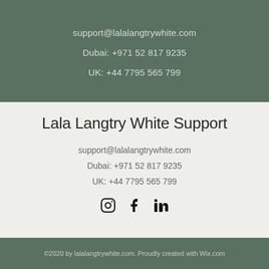support@lalalangtrywhite.com
Dubai: +971 52 817 9235
UK: +44 7795 565 799
Lala Langtry White Support
support@lalalangtrywhite.com
Dubai: +971 52 817 9235
UK: +44 7795 565 799
[Figure (illustration): Social media icons: Instagram, Facebook, LinkedIn]
©2020 by lalalangtrywhite.com. Proudly created with Wix.com